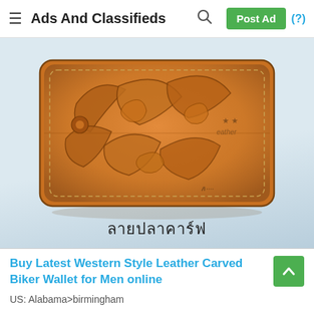Ads And Classifieds
[Figure (photo): Photo of a tan/brown leather bifold wallet with hand-tooled floral and leaf carving pattern (Western style). Thai text 'ลายปลาคาร์ฟ' is written below the wallet in the image. A watermark/logo is visible in the lower-right area of the image.]
Buy Latest Western Style Leather Carved Biker Wallet for Men online
US: Alabama>birmingham